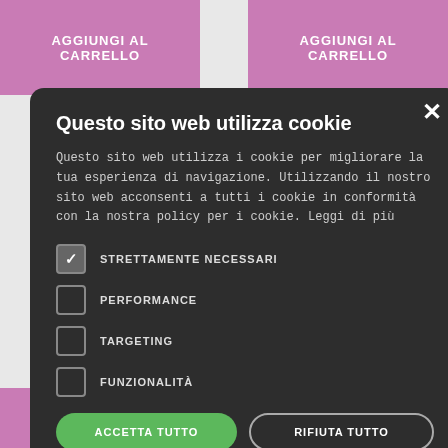[Figure (screenshot): E-commerce page background with pink 'AGGIUNGI AL CARRELLO' buttons, an orange discount badge '...isparmia 33%', a product image of a white feather quill in a glass inkwell, a navigation arrow, and partial product text showing 'Noel - uquet 100ml ceramica ANTATO 1) €14.50 (Iva inclusa)']
Questo sito web utilizza cookie
Questo sito web utilizza i cookie per migliorare la tua esperienza di navigazione. Utilizzando il nostro sito web acconsenti a tutti i cookie in conformità con la nostra policy per i cookie. Leggi di più
STRETTAMENTE NECESSARI
PERFORMANCE
TARGETING
FUNZIONALITÀ
ACCETTA TUTTO
RIFIUTA TUTTO
MOSTRA DETTAGLI